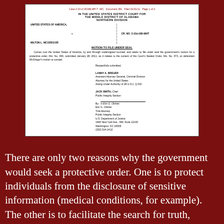Case 2:10-cr-00186-MH-T -WC Document 391 Filed 01/31/11 Page 1 of 2
IN THE UNITED STATES DISTRICT COURT FOR THE MIDDLE DISTRICT OF ALABAMA NORTHERN DIVISION
UNITED STATES OF AMERICA, v. MILTON L. MCGREGOR | CR. NO. 2:10cr186-MHT
MOTION TO FILE UNDER SEAL
Comes now the United States of America, by and through undersigned counsel, and seeks to file under seal the government's motion for a protective order, Dkt. No. 390, submitted January 28, 2011, as it relates to the content of the Court's Sealed Order, Dkt. No. 373, on defendant McGregor's motion to compel.
Respectfully submitted,

LANNY A. BREUER
Assistant Attorney General, Criminal Division
Attorney for the United States
Acting Under Authority of 28 U.S.C. § 515

JACK SMITH, Chief
Public Integrity Section

By: /s Eric G. Olshan
Eric G. Olshan
Trial Attorney
Public Integrity Section
U.S. Department of Justice
1400 New York Ave., NW, Suite 12100
Washington, DC 20005
(202) 514-1412
There are only two reasons why the government would seek a protective order. One is to protect individuals from the disclosure of sensitive information (medical conditions, for example). The other is to facilitate the search for truth,